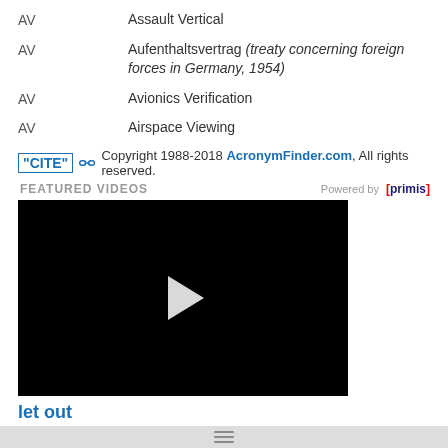AV — Assault Vertical
AV — Aufenthaltsvertrag (treaty concerning foreign forces in Germany, 1954)
AV — Avionics Verification
AV — Airspace Viewing
"CITE" [link icon] Copyright 1988-2018 AcronymFinder.com, All rights reserved.
FEATURED VIDEOS   Powered by [primis]
[Figure (screenshot): Black video player with white play button triangle in center]
let out
let outTo release or utter something audibly.I let out a shriek when the dog suddenly jumped on me.The lion let